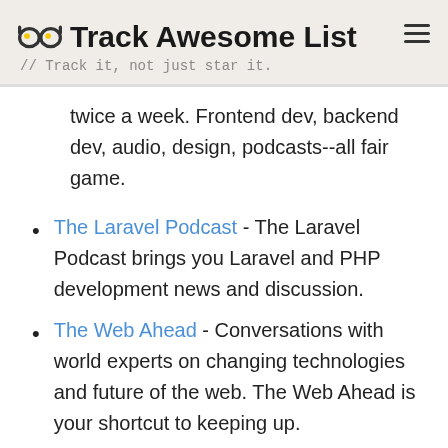Track Awesome List // Track it, not just star it.
twice a week. Frontend dev, backend dev, audio, design, podcasts--all fair game.
The Laravel Podcast - The Laravel Podcast brings you Laravel and PHP development news and discussion.
The Web Ahead - Conversations with world experts on changing technologies and future of the web. The Web Ahead is your shortcut to keeping up.
This Developer's Life - A podcast about developers and their lives.
Thoughtbot - We record and release